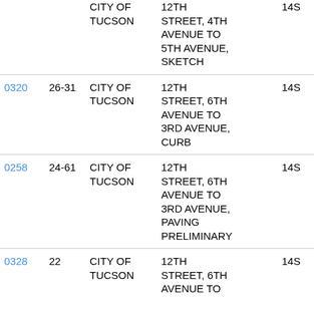| ID | Num | Name | Description | TS | Last |
| --- | --- | --- | --- | --- | --- |
|  |  | CITY OF TUCSON | 12TH STREET, 4TH AVENUE TO 5TH AVENUE, SKETCH | 14S | 13E |
| 0320 | 26-31 | CITY OF TUCSON | 12TH STREET, 6TH AVENUE TO 3RD AVENUE, CURB | 14S | 13E |
| 0258 | 24-61 | CITY OF TUCSON | 12TH STREET, 6TH AVENUE TO 3RD AVENUE, PAVING PRELIMINARY | 14S | 13E |
| 0328 | 22 | CITY OF TUCSON | 12TH STREET, 6TH AVENUE TO | 14S | 13E |